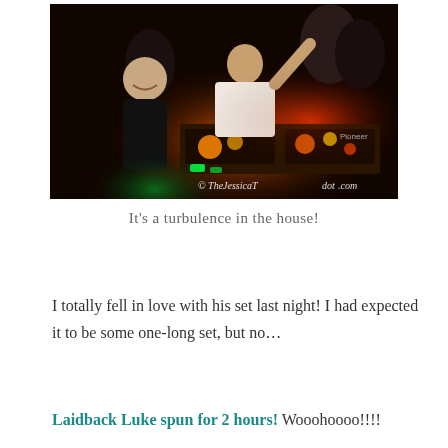[Figure (photo): Nightclub photo showing a DJ at Pioneer decks with glowing lights, a man in a black shirt laughing on the left, and people dancing in a dark club atmosphere. Watermark reads '© TheJessicaTdot.com']
It's a turbulence in the house!
I totally fell in love with his set last night! I had expected it to be some one-long set, but no…
Laidback Luke spun for 2 hours! Wooohoooo!!!!